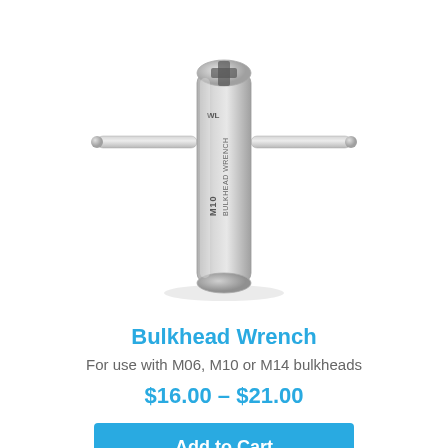[Figure (photo): A silver T-bar style bulkhead wrench (WetLink M10 Bulkhead Wrench) with cylindrical body and horizontal crossbar handle. The tool is made of polished stainless steel and has 'M10 BULKHEAD WRENCH' and the WetLink logo engraved on the body.]
Bulkhead Wrench
For use with M06, M10 or M14 bulkheads
$16.00 – $21.00
Add to Cart